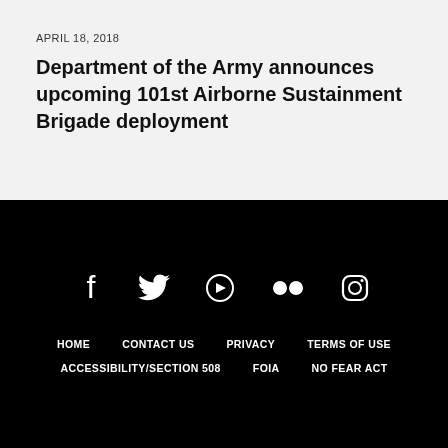APRIL 18, 2018
Department of the Army announces upcoming 101st Airborne Sustainment Brigade deployment
[Figure (infographic): Social media icons: Facebook, Twitter, YouTube, Flickr, Instagram displayed in white on black background, followed by navigation links: HOME, CONTACT US, PRIVACY, TERMS OF USE, ACCESSIBILITY/SECTION 508, FOIA, NO FEAR ACT]
HOME   CONTACT US   PRIVACY   TERMS OF USE   ACCESSIBILITY/SECTION 508   FOIA   NO FEAR ACT